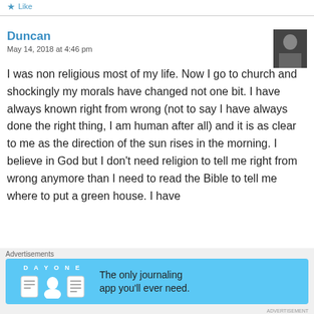Like
Duncan
May 14, 2018 at 4:46 pm
I was non religious most of my life. Now I go to church and shockingly my morals have changed not one bit. I have always known right from wrong (not to say I have always done the right thing, I am human after all) and it is as clear to me as the direction of the sun rises in the morning. I believe in God but I don't need religion to tell me right from wrong anymore than I need to read the Bible to tell me where to put a green house. I have
[Figure (screenshot): Advertisement banner for Day One journaling app with blue background, app logo icons, and text 'The only journaling app you'll ever need.']